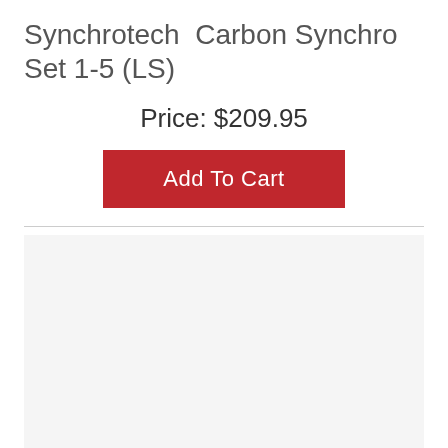Synchrotech  Carbon Synchro Set 1-5 (LS)
Price: $209.95
[Figure (other): Add To Cart button (red rectangle with white text)]
[Figure (other): Product image placeholder (light gray rectangle)]